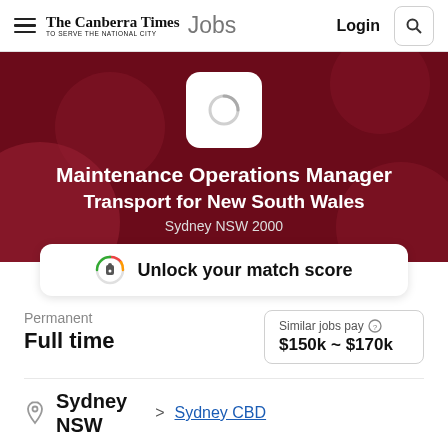The Canberra Times Jobs | Login
[Figure (screenshot): Hero banner with dark red/maroon background showing job listing: Maintenance Operations Manager, Transport for New South Wales, Sydney NSW 2000]
Unlock your match score
Permanent
Full time
Similar jobs pay $150k ~ $170k
Sydney NSW > Sydney CBD